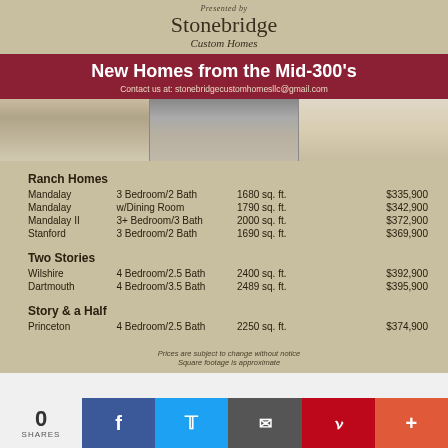Presented by
Stonebridge Custom Homes
New Homes from the Mid-300's
Contact us at: stonebridgecustomhomesllc@gmail.com
[Figure (photo): Three photos of home interior and exterior: kitchen, garage exterior, living room with fireplace]
Ranch Homes
| Model | Bedrooms/Bath | Sq Ft | Price |
| --- | --- | --- | --- |
| Mandalay | 3 Bedroom/2 Bath | 1680 sq. ft. | $335,900 |
| Mandalay | w/Dining Room | 1790 sq. ft. | $342,900 |
| Mandalay II | 3+ Bedroom/3 Bath | 2000 sq. ft. | $372,900 |
| Stanford | 3 Bedroom/2 Bath | 1690 sq. ft. | $369,900 |
Two Stories
| Model | Bedrooms/Bath | Sq Ft | Price |
| --- | --- | --- | --- |
| Wilshire | 4 Bedroom/2.5 Bath | 2400 sq. ft. | $392,900 |
| Dartmouth | 4 Bedroom/3.5 Bath | 2489 sq. ft. | $395,900 |
Story & a Half
| Model | Bedrooms/Bath | Sq Ft | Price |
| --- | --- | --- | --- |
| Princeton | 4 Bedroom/2.5 Bath | 2250 sq. ft. | $374,900 |
Prices are subject to change without notice
Square footage is approximate